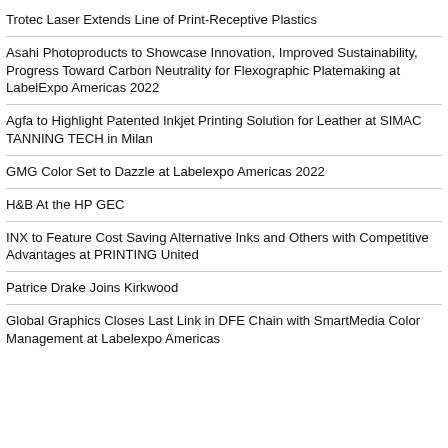Trotec Laser Extends Line of Print-Receptive Plastics
Asahi Photoproducts to Showcase Innovation, Improved Sustainability, Progress Toward Carbon Neutrality for Flexographic Platemaking at LabelExpo Americas 2022
Agfa to Highlight Patented Inkjet Printing Solution for Leather at SIMAC TANNING TECH in Milan
GMG Color Set to Dazzle at Labelexpo Americas 2022
H&B At the HP GEC
INX to Feature Cost Saving Alternative Inks and Others with Competitive Advantages at PRINTING United
Patrice Drake Joins Kirkwood
Global Graphics Closes Last Link in DFE Chain with SmartMedia Color Management at Labelexpo Americas